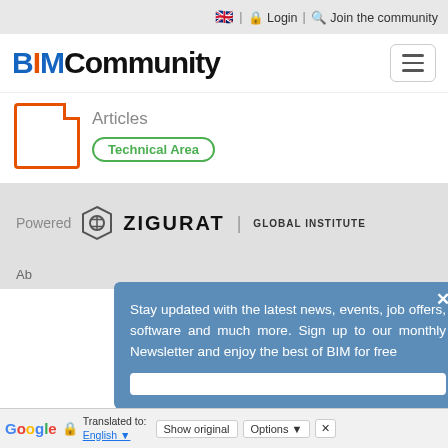🇬🇧 | 🔒 Login | 🔍 Join the community
[Figure (logo): BIMCommunity logo with hamburger menu button]
Articles
Technical Area
[Figure (logo): Powered by ZIGURAT | GLOBAL INSTITUTE logo on gray background]
Stay updated with the latest news, events, job offers, software and much more. Sign up to our monthly Newsletter and enjoy the best of BIM for free
Google Translated to: English | Show original | Options | ×